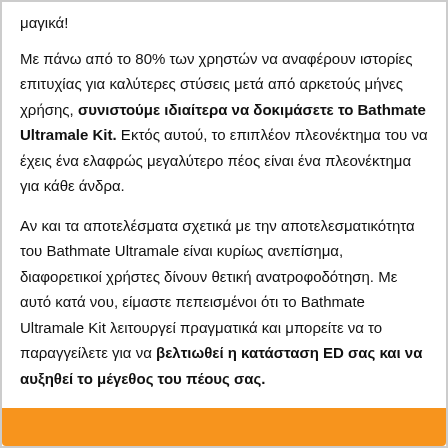μαγικά!
Με πάνω από το 80% των χρηστών να αναφέρουν ιστορίες επιτυχίας για καλύτερες στύσεις μετά από αρκετούς μήνες χρήσης, συνιστούμε ιδιαίτερα να δοκιμάσετε το Bathmate Ultramale Kit. Εκτός αυτού, το επιπλέον πλεονέκτημα του να έχεις ένα ελαφρώς μεγαλύτερο πέος είναι ένα πλεονέκτημα για κάθε άνδρα.
Αν και τα αποτελέσματα σχετικά με την αποτελεσματικότητα του Bathmate Ultramale είναι κυρίως ανεπίσημα, διαφορετικοί χρήστες δίνουν θετική ανατροφοδότηση. Με αυτό κατά νου, είμαστε πεπεισμένοι ότι το Bathmate Ultramale Kit λειτουργεί πραγματικά και μπορείτε να το παραγγείλετε για να βελτιωθεί η κατάσταση ED σας και να αυξηθεί το μέγεθος του πέους σας.
[Figure (other): Orange button/bar at bottom of page]